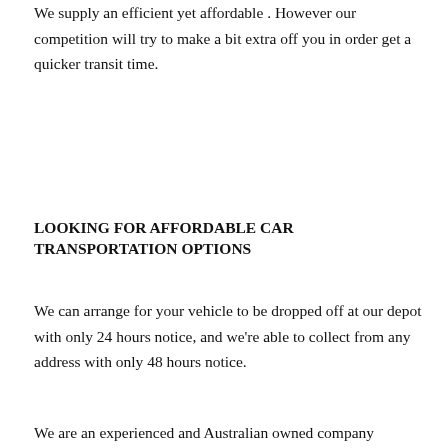We supply an efficient yet affordable . However our competition will try to make a bit extra off you in order get a quicker transit time.
LOOKING FOR AFFORDABLE CAR TRANSPORTATION OPTIONS
We can arrange for your vehicle to be dropped off at our depot with only 24 hours notice, and we're able to collect from any address with only 48 hours notice.
We are an experienced and Australian owned company